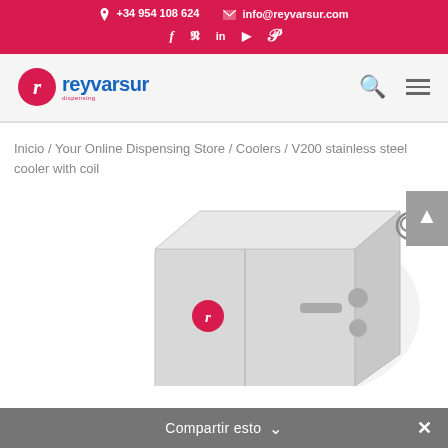+34 954 108 624  info@reyvarsur.com
[Figure (logo): Reyvarsur company logo with red circle containing letter r and blue text 'reyvarsur']
Inicio / Your Online Dispensing Store / Coolers / V200 stainless steel cooler with coil
[Figure (photo): V200 stainless steel cooler with coil product image - a boxy light grey stainless steel cooler unit shown in 3/4 view with reyvarsur logo on the door]
Compartir esto